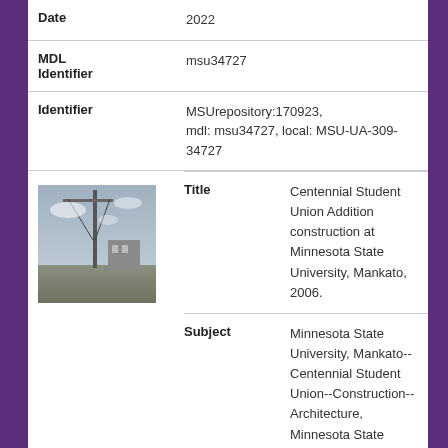| Field | Value |
| --- | --- |
| Date | 2022 |
| MDL Identifier | msu34727 |
| Identifier | MSUrepository:170923, mdl: msu34727, local: MSU-UA-309-34727 |
| Title | Centennial Student Union Addition construction at Minnesota State University, Mankato, 2006. |
| Subject | Minnesota State University, Mankato--Centennial Student Union--Construction--Architecture, Minnesota State University, Mankato--Centennial Student Union--Construction--Architecture--44.146231-94.000398--Google Maps |
| Descriptio | Centennial Student Union Addition |